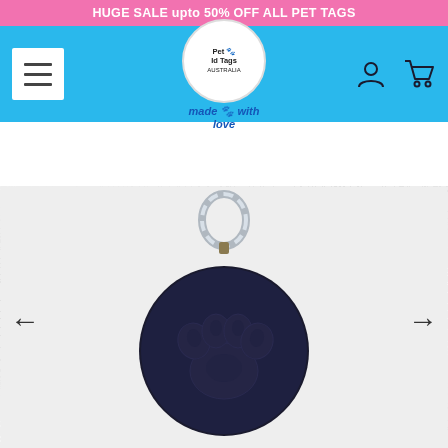HUGE SALE upto 50% OFF ALL PET TAGS
[Figure (screenshot): Website navigation bar with hamburger menu on left, Pet Id Tags Australia logo in center (circular with paw print and 'made with love' text), and user/cart icons on right, on a blue background]
[Figure (photo): Close-up photo of a dark navy/black round pet ID tag with an embossed paw print design, attached to a silver carabiner clip, resting on white fluffy fur background. Left and right navigation arrows visible on sides.]